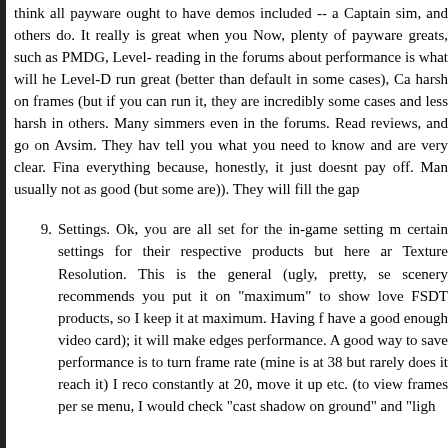think all payware ought to have demos included -- a Captain sim, and others do. It really is great when you Now, plenty of payware greats, such as PMDG, Level- reading in the forums about performance is what will he Level-D run great (better than default in some cases), Ca harsh on frames (but if you can run it, they are incredibly some cases and less harsh in others. Many simmers even in the forums. Read reviews, and go on Avsim. They hav tell you what you need to know and are very clear. Fina everything because, honestly, it just doesnt pay off. Man usually not as good (but some are)). They will fill the gap
9. Settings. Ok, you are all set for the in-game setting m certain settings for their respective products but here ar Texture Resolution. This is the general (ugly, pretty, se scenery recommends you put it on "maximum" to show love FSDT products, so I keep it at maximum. Having f have a good enough video card); it will make edges performance. A good way to save performance is to turn frame rate (mine is at 38 but rarely does it reach it) I reco constantly at 20, move it up etc. (to view frames per se menu, I would check "cast shadow on ground" and "ligh